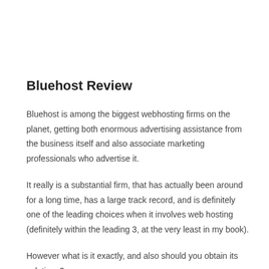Bluehost Review
Bluehost is among the biggest webhosting firms on the planet, getting both enormous advertising assistance from the business itself and also associate marketing professionals who advertise it.
It really is a substantial firm, that has actually been around for a long time, has a large track record, and is definitely one of the leading choices when it involves web hosting (definitely within the leading 3, at the very least in my book).
However what is it exactly, and also should you obtain its solutions?